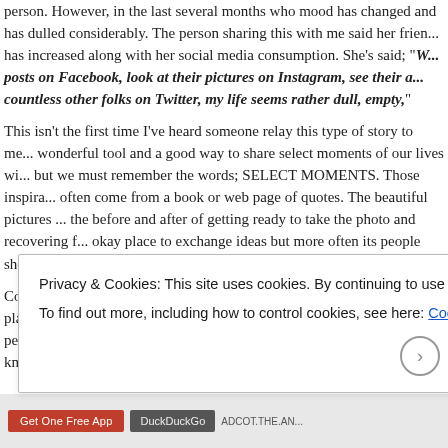person. However, in the last several months who mood has changed and has dulled considerably. The person sharing this with me said her friend has increased along with her social media consumption. She's said; "When I look at posts on Facebook, look at their pictures on Instagram, see their adventures and countless other folks on Twitter, my life seems rather dull, empty,"
This isn't the first time I've heard someone relay this type of story to me. Social media is a wonderful tool and a good way to share select moments of our lives with important people in our lives, but we must remember the words; SELECT MOMENTS. Those inspirational posts and sayings often come from a book or web page of quotes. The beautiful pictures were taken showcasing the before and after of getting ready to take the photo and recovering from it. Twitter can be an okay place to exchange ideas but more often its people shouting their opinions.
Comparisons can be dangerous, especially on social media.  Most of what we see on these platforms are illusions. They rarely give us a real glimpse of who a person truly is or what they're truly like. We have to be careful comparing our life, which we know intim...
Privacy & Cookies: This site uses cookies. By continuing to use this website, you agree to their use.
To find out more, including how to control cookies, see here: Cookie Policy
Close and accept